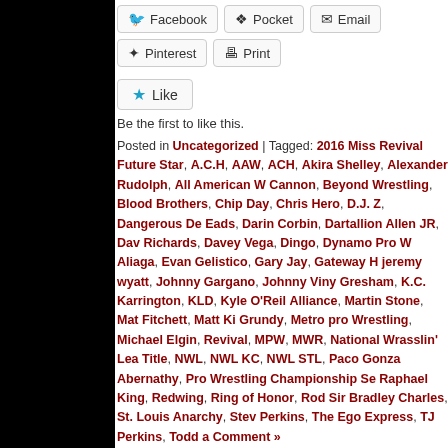[Figure (screenshot): Share buttons: Facebook, Pocket, Email (row 1); Pinterest, Print (row 2)]
Like
Be the first to like this.
Posted in Uncategorized | Tagged: 2016 Miss Revival Future Star, A.C.H, AAW, ACH, Akira Shelley, Alexander Rudolph, All American W Cannon, Beyond Wrestling, Blood Brothers, Chip Day, Chris Hero, D.J. Z, Dangerous De Eads, Darin Corbin, Dartallion Allen JR, Dav Richards, Davey Vega, Dingo, Dynamo Pro W Aliaga, Evan Gelistico, Gary Jay, Gateway H jeremy wyatt, Johnny Gargano, Johnny Viny Gresham, K.C. Karrington, KLD, Kyle O'Reil Alliance, Martin Stone, Mat Fitchett, Matt Ki Grundy, Metro pro Wrestling, Michael Elgin, Revival, MPW, MWR, National Wrasslin' Lea Title, NWL, NWL KC, NWL STL, Paco Gonza Abernathy, Pro Wrestling Championship Se Raphael King, Redwing, Ring of Honor, Rod Sir Bradley Charles, St. Louis Anarchy, Stev Perkins, The Ego Express, TJ Perkins, Todd a Comment »